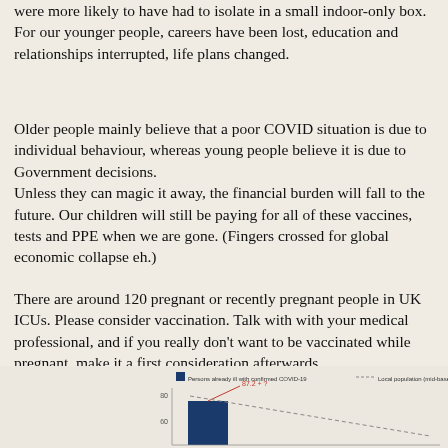were more likely to have had to isolate in a small indoor-only box.
For our younger people, careers have been lost, education and relationships interrupted, life plans changed.
Older people mainly believe that a poor COVID situation is due to individual behaviour, whereas young people believe it is due to Government decisions.
Unless they can magic it away, the financial burden will fall to the future. Our children will still be paying for all of these vaccines, tests and PPE when we are gone. (Fingers crossed for global economic collapse eh.)
There are around 120 pregnant or recently pregnant people in UK ICUs. Please consider vaccination. Talk with with your medical professional, and if you really don't want to be vaccinated while pregnant, make it a first consideration afterwards.
[Figure (bar-chart): Partial bar chart visible at bottom of page, with legend mentioning 'Persons already ill with confirmed COVID-19' and 'Local population (mid-based on 2011 census data)', and a bar with annotation '87.2 + ?']